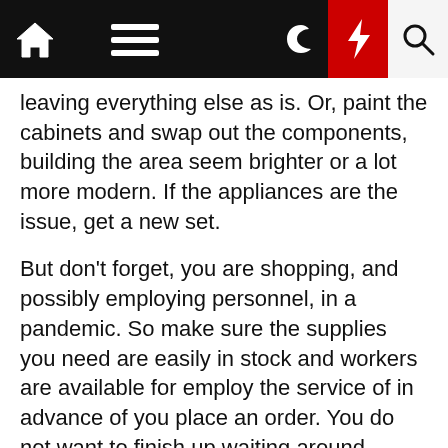[Navigation bar with home, menu, dark mode, flash, and search icons]
leaving everything else as is. Or, paint the cabinets and swap out the components, building the area seem brighter or a lot more modern. If the appliances are the issue, get a new set.
But don't forget, you are shopping, and possibly employing personnel, in a pandemic. So make sure the supplies you need are easily in stock and workers are available for employ the service of in advance of you place an order. You do not want to finish up waiting around months for a new countertop that was supposed to make it simpler to offer your house, not more difficult.
For weekly email updates on residential actual estate information, signal up listed here. Comply with us on Twitter: @nytrealestate.